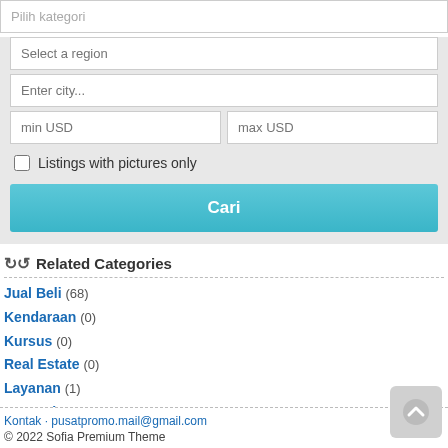Pilih kategori
Select a region
Enter city...
min USD
max USD
Listings with pictures only
Cari
Related Categories
Jual Beli (68)
Kendaraan (0)
Kursus (0)
Real Estate (0)
Layanan (1)
Komunitas (0)
Personal (0)
Bursa Kerja (8)
Kontak · pusatpromo.mail@gmail.com
© 2022 Sofia Premium Theme